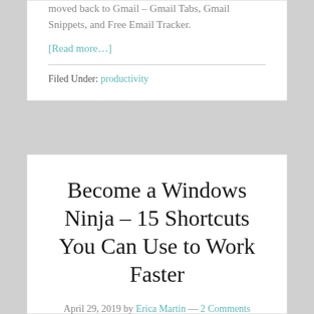moved back to Gmail – Gmail Tabs, Gmail Snippets, and Free Email Tracker.
[Read more…]
Filed Under: productivity
Become a Windows Ninja – 15 Shortcuts You Can Use to Work Faster
April 29, 2019 by Erica Martin — 2 Comments